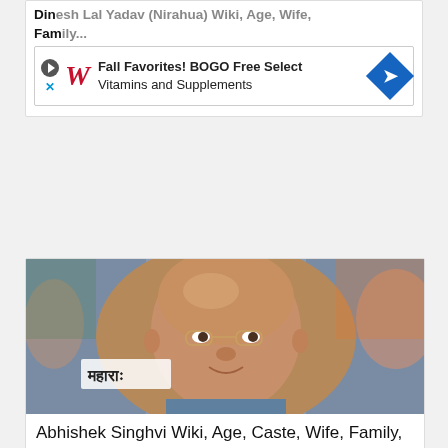Dinesh Lal Yadav (Nirahua) Wiki, Age, Wife, Family...
[Figure (screenshot): Walgreens advertisement banner: Fall Favorites! BOGO Free Select Vitamins and Supplements]
[Figure (photo): Photo of Abhishek Singhvi, a bald Indian man wearing glasses, smiling, with political party posters in background including Marathi text]
Abhishek Singhvi Wiki, Age, Caste, Wife, Family, Children, Biography & More
Advertisement
[Figure (screenshot): Smoothie King advertisement: Dine-in, Curbside pickup, Delivery options listed]